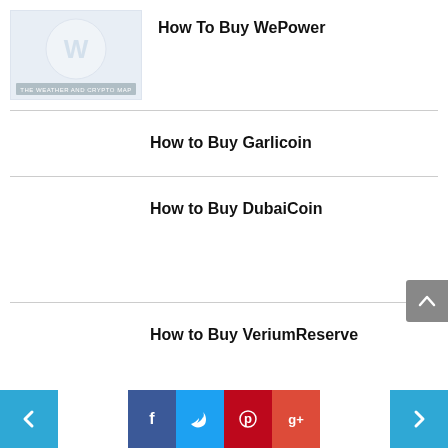[Figure (logo): WePower crypto logo - circular yellow/white emblem with 'W' letter on light blue background with text 'THE WEATHER AND CRYPTO MAP']
How To Buy WePower
How to Buy Garlicoin
How to Buy DubaiCoin
How to Buy VeriumReserve